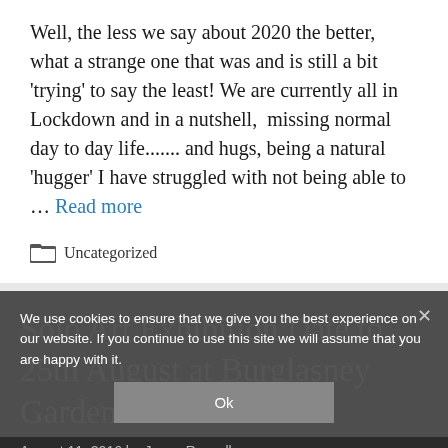Well, the less we say about 2020 the better, what a strange one that was and is still a bit 'trying' to say the least! We are currently all in Lockdown and in a nutshell,  missing normal day to day life....... and hugs, being a natural 'hugger' I have struggled with not being able to … Read more
Uncategorized
We use cookies to ensure that we give you the best experience on our website. If you continue to use this site we will assume that you are happy with it.
Solo Art Exhibition Date to 25th August at Burglasney Gardens 2016
August 11, 2016 by Jayne Russell